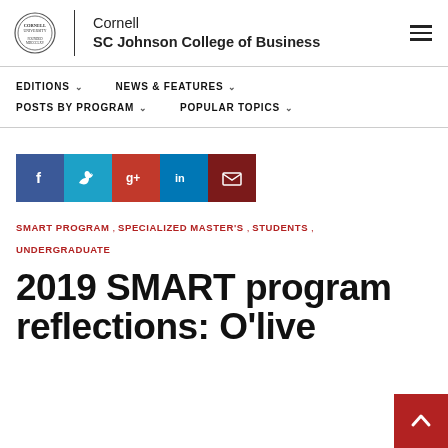Cornell SC Johnson College of Business
EDITIONS  NEWS & FEATURES  POSTS BY PROGRAM  POPULAR TOPICS
[Figure (infographic): Social share icons: Facebook, Twitter, Google+, LinkedIn, Email]
SMART PROGRAM, SPECIALIZED MASTER'S, STUDENTS, UNDERGRADUATE
2019 SMART program reflections: O'live